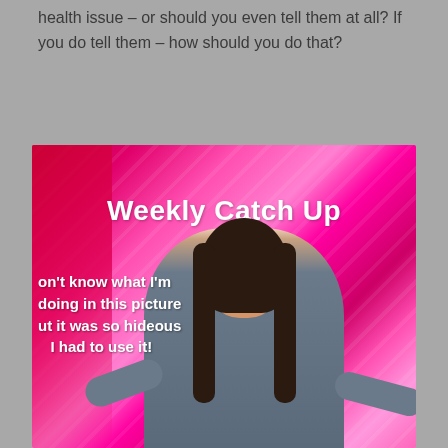health issue – or should you even tell them at all? If you do tell them – how should you do that?
[Figure (photo): A video thumbnail showing a woman with dark hair against a bright pink and red streaked background. Bold white text reads 'Weekly Catch Up' at the top, and smaller white bold text on the lower left reads: 'on't know what I'm doing in this picture but it was so hideous I had to use it!']